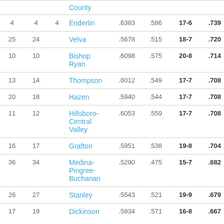|  |  |  | School |  |  | Record |  |
| --- | --- | --- | --- | --- | --- | --- | --- |
|  |  |  | County |  |  |  |  |
| 4 | 4 | 4 | Enderlin | .6383 | .586 | 17-6 | .739 |
| 25 | 24 |  | Velva | .5678 | .515 | 18-7 | .720 |
| 10 | 10 |  | Bishop Ryan | .6098 | .575 | 20-8 | .714 |
| 13 | 14 |  | Thompson | .6012 | .549 | 17-7 | .708 |
| 20 | 18 |  | Hazen | .5940 | .544 | 17-7 | .708 |
| 11 | 12 |  | Hillsboro-Central Valley | .6053 | .559 | 17-7 | .708 |
| 16 | 17 |  | Grafton | .5951 | .538 | 19-8 | .704 |
| 36 | 34 |  | Medina-Pingree-Buchanan | .5290 | .475 | 15-7 | .682 |
| 26 | 27 |  | Stanley | .5543 | .521 | 19-9 | .679 |
| 17 | 19 |  | Dickinson | .5934 | .571 | 16-8 | .667 |